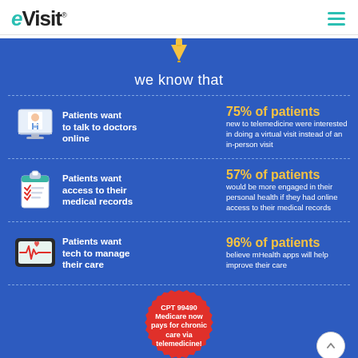eVisit
[Figure (infographic): eVisit infographic showing telemedicine statistics: we know that - 75% of patients new to telemedicine were interested in doing a virtual visit instead of an in-person visit; 57% of patients would be more engaged in their personal health if they had online access to their medical records; 96% of patients believe mHealth apps will help improve their care. Badge: CPT 99490 Medicare now pays for chronic care via telemedicine!]